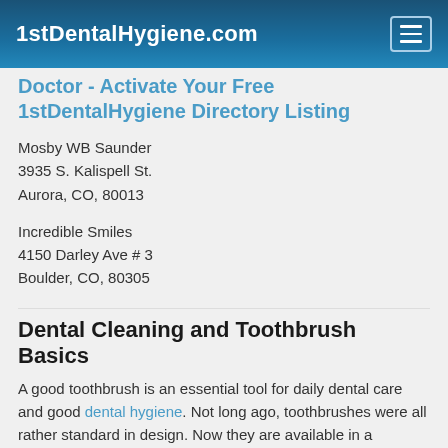1stDentalHygiene.com
Doctor - Activate Your Free 1stDentalHygiene Directory Listing
Mosby WB Saunder
3935 S. Kalispell St.
Aurora, CO, 80013
Incredible Smiles
4150 Darley Ave # 3
Boulder, CO, 80305
Dental Cleaning and Toothbrush Basics
A good toothbrush is an essential tool for daily dental care and good dental hygiene. Not long ago, toothbrushes were all rather standard in design. Now they are available in a dazzling array of colors, sizes and styles, angled heads, tufted bristles, powered…
read more
Choosing Dental Health, Three Reasons Why It Is a Wise Choice for Care